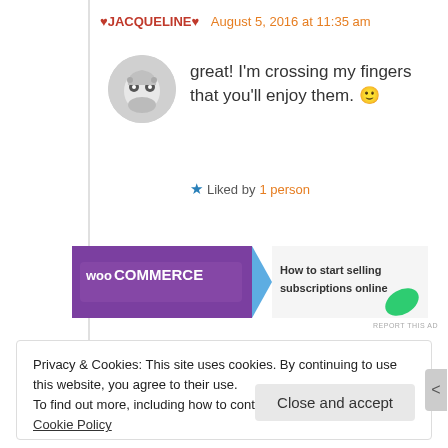♥JACQUELINE♥  August 5, 2016 at 11:35 am
great! I'm crossing my fingers that you'll enjoy them. 🙂
★ Liked by 1 person
[Figure (screenshot): WooCommerce advertisement banner: 'How to start selling subscriptions online']
REPORT THIS AD
Privacy & Cookies: This site uses cookies. By continuing to use this website, you agree to their use.
To find out more, including how to control cookies, see here: Cookie Policy
Close and accept